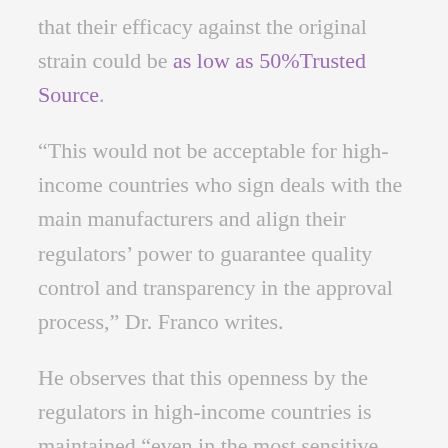that their efficacy against the original strain could be as low as 50%Trusted Source.
“This would not be acceptable for high-income countries who sign deals with the main manufacturers and align their regulators’ power to guarantee quality control and transparency in the approval process,” Dr. Franco writes.
He observes that this openness by the regulators in high-income countries is maintained “even in the most sensitive cases,” as with concerns about a possible link between the AstraZeneca vaccine and adverse events.